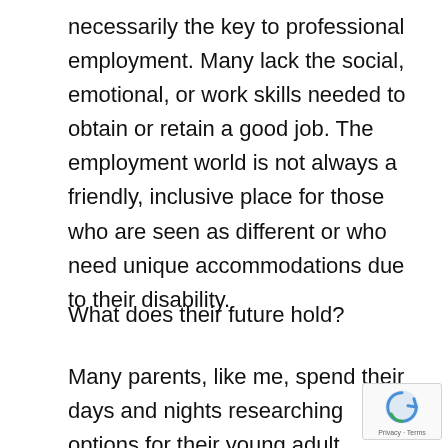necessarily the key to professional employment. Many lack the social, emotional, or work skills needed to obtain or retain a good job. The employment world is not always a friendly, inclusive place for those who are seen as different or who need unique accommodations due to their disability.
What does their future hold?
Many parents, like me, spend their days and nights researching options for their young adult children with disabilities that might address these deficits and give our kids the chance they need to be